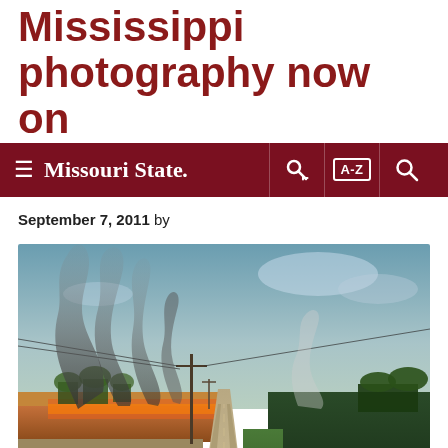Mississippi photography now on
Missouri State — navigation bar with hamburger menu, key icon, A-Z index, and search icon
September 7, 2011 by
[Figure (photo): A rural dirt road stretching into the distance with large plumes of dark smoke rising from burning fields on the left side, a utility pole with wires visible, green crops on the right, under a partly cloudy blue-grey sky.]